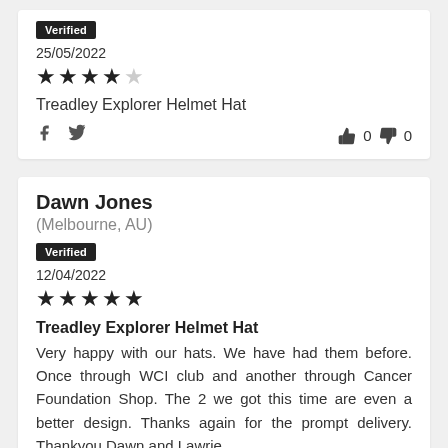Verified
25/05/2022
★★★★☆
Treadley Explorer Helmet Hat
Social share icons, thumbs up 0, thumbs down 0
Dawn Jones
(Melbourne, AU)
Verified
12/04/2022
★★★★★
Treadley Explorer Helmet Hat
Very happy with our hats. We have had them before. Once through WCI club and another through Cancer Foundation Shop. The 2 we got this time are even a better design. Thanks again for the prompt delivery. Thankyou Dawn and Lawrie